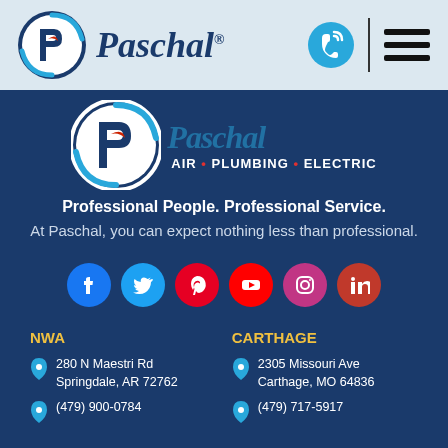[Figure (logo): Paschal Air Plumbing Electric logo with circular P icon in header bar]
[Figure (logo): Paschal AIR • PLUMBING • ELECTRIC logo banner on dark blue background]
Professional People. Professional Service.
At Paschal, you can expect nothing less than professional.
[Figure (infographic): Row of 6 social media icons: Facebook (blue), Twitter (light blue), Pinterest (red), YouTube (red), Instagram (gradient pink/purple), LinkedIn (red)]
NWA
CARTHAGE
280 N Maestri Rd
Springdale, AR 72762
2305 Missouri Ave
Carthage, MO 64836
(479) 900-0784
(479) 717-5917